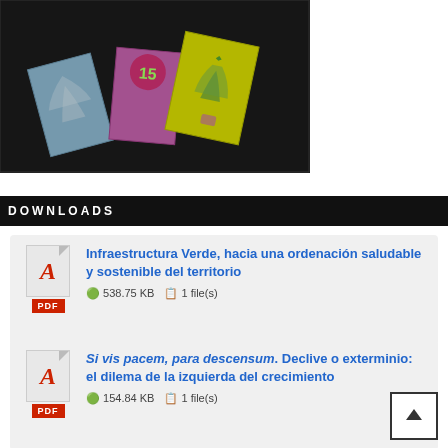[Figure (photo): Photo of three zine/booklets on a dark surface: a blue/grey one, a pink/magenta one with a circular green number 15 logo, and a yellow one with illustrated green plants]
DOWNLOADS
Infraestructura Verde, hacia una ordenación saludable y sostenible del territorio
538.75 KB   1 file(s)
Si vis pacem, para descensum. Declive o exterminio: el dilema de la izquierda del crecimiento
154.84 KB   1 file(s)